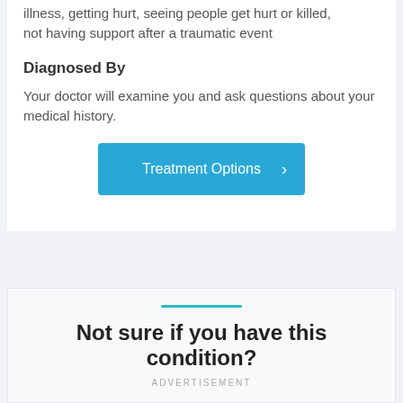illness, getting hurt, seeing people get hurt or killed, not having support after a traumatic event
Diagnosed By
Your doctor will examine you and ask questions about your medical history.
[Figure (other): Blue button linking to Treatment Options with a right chevron arrow]
Not sure if you have this condition?
ADVERTISEMENT